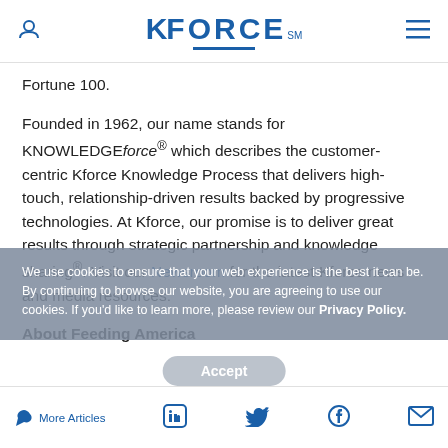KFORCE
Fortune 100.
Founded in 1962, our name stands for KNOWLEDGEforce® which describes the customer-centric Kforce Knowledge Process that delivers high-touch, relationship-driven results backed by progressive technologies. At Kforce, our promise is to deliver great results through strategic partnership and knowledge sharing®. Visit our Newsroom for the latest Kforce news and media resources.
We use cookies to ensure that your web experience is the best it can be. By continuing to browse our website, you are agreeing to use our cookies. If you'd like to learn more, please review our Privacy Policy.
About Feeding America
More Articles | LinkedIn | Accept | Twitter | Facebook | Email